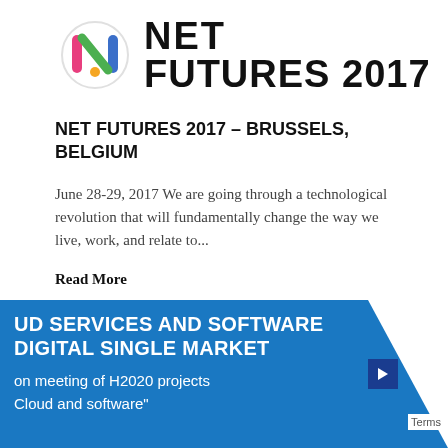[Figure (logo): NET FUTURES 2017 logo with colorful N icon and bold text]
NET FUTURES 2017 – BRUSSELS, BELGIUM
June 28-29, 2017 We are going through a technological revolution that will fundamentally change the way we live, work, and relate to...
Read More
[Figure (screenshot): Blue banner for Cloud Services and Software for Digital Single Market, coordination meeting of H2020 projects on Cloud and software]